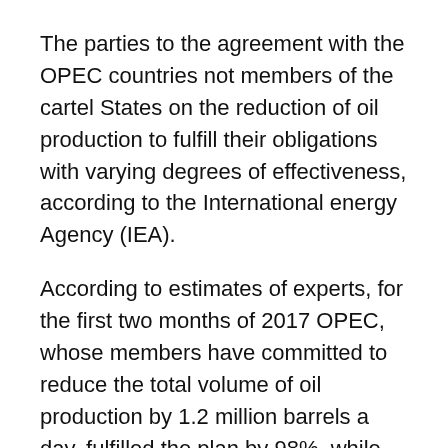The parties to the agreement with the OPEC countries not members of the cartel States on the reduction of oil production to fulfill their obligations with varying degrees of effectiveness, according to the International energy Agency (IEA).
According to estimates of experts, for the first two months of 2017 OPEC, whose members have committed to reduce the total volume of oil production by 1.2 million barrels a day, fulfilled the plan by 98%, while 11 others have joined the deal — only 37%.
Thus in the IEA explained that the high result, OPEC is primarily due to the actions of Saudi Arabia, which is 135% exceeded the plan to reduce oil production.
At the same time Russia (the largest of the allies OPEC to correct the imbalance in the oil market),